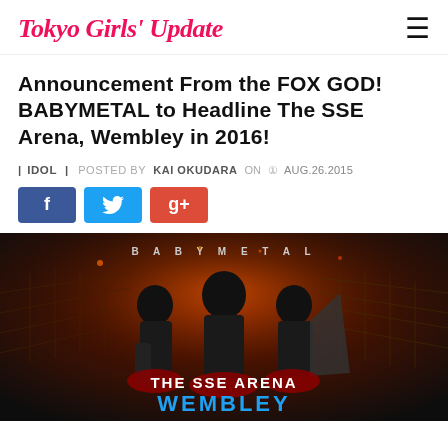Tokyo Girls' Update
Announcement From the FOX GOD! BABYMETAL to Headline The SSE Arena, Wembley in 2016!
| IDOL | POSTED BY KAI OKUDARA ON AUG.26.2015
[Figure (illustration): Social share buttons: Facebook (blue), Twitter (light blue), Google+ (red)]
[Figure (photo): BABYMETAL promotional image for The SSE Arena, Wembley concert. Three performers in dark costumes on a dramatic stage backdrop with 'THE SSE ARENA WEMBLEY' text and BABYMETAL logo.]